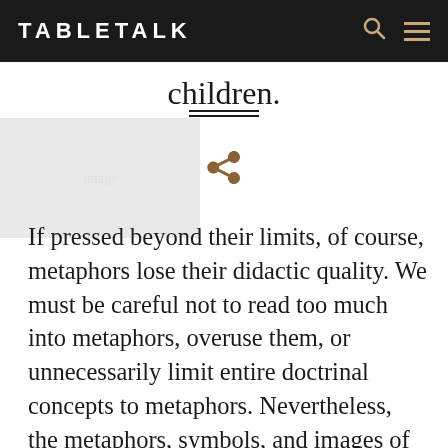TABLETALK
children.
If pressed beyond their limits, of course, metaphors lose their didactic quality. We must be careful not to read too much into metaphors, overuse them, or unnecessarily limit entire doctrinal concepts to metaphors. Nevertheless, the metaphors, symbols, and images of Scripture help us associate our experiences in life with spiritual and doctrinal concepts so that we can know God more and serve Him more fully. Studying them can help us see